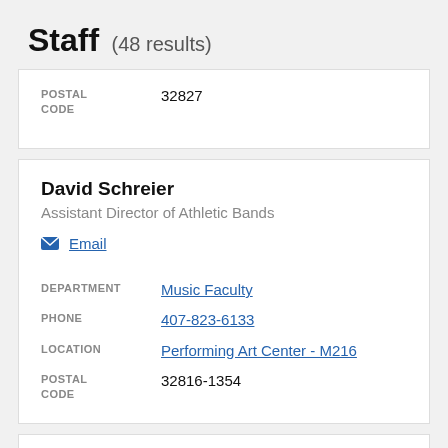Staff (48 results)
| POSTAL CODE |  |
| --- | --- |
| POSTAL CODE | 32827 |
David Schreier
Assistant Director of Athletic Bands
Email
| Field | Value |
| --- | --- |
| DEPARTMENT | Music Faculty |
| PHONE | 407-823-6133 |
| LOCATION | Performing Art Center - M216 |
| POSTAL CODE | 32816-1354 |
David Rollins